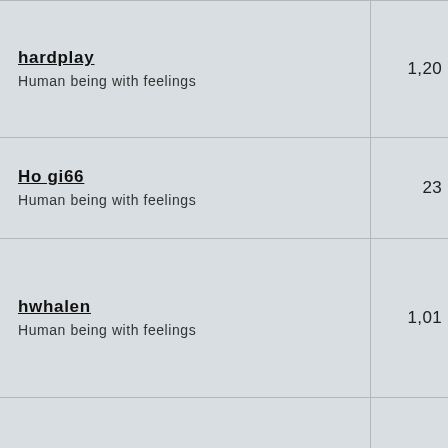| User | Count |
| --- | --- |
| hardplay
Human being with feelings | 1,20… |
| Ho gi66
Human being with feelings | 23 |
| hwhalen
Human being with feelings | 1,01… |
| horneusz
Human being with feelings | 100 |
| Homme studio
Human being with feelings | 945 |